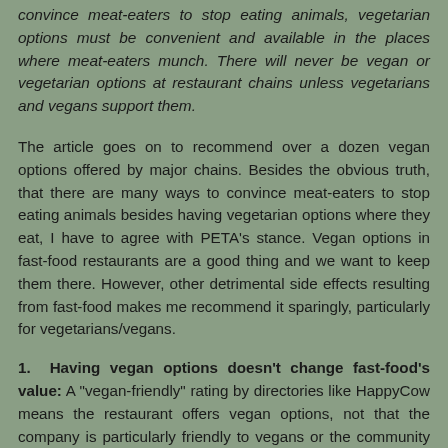convince meat-eaters to stop eating animals, vegetarian options must be convenient and available in the places where meat-eaters munch. There will never be vegan or vegetarian options at restaurant chains unless vegetarians and vegans support them.
The article goes on to recommend over a dozen vegan options offered by major chains. Besides the obvious truth, that there are many ways to convince meat-eaters to stop eating animals besides having vegetarian options where they eat, I have to agree with PETA's stance. Vegan options in fast-food restaurants are a good thing and we want to keep them there. However, other detrimental side effects resulting from fast-food makes me recommend it sparingly, particularly for vegetarians/vegans.
1. Having vegan options doesn't change fast-food's value: A "vegan-friendly" rating by directories like HappyCow means the restaurant offers vegan options, not that the company is particularly friendly to vegans or the community in general. Corporations and the chains they own are "friendly" to people with money. Once any company